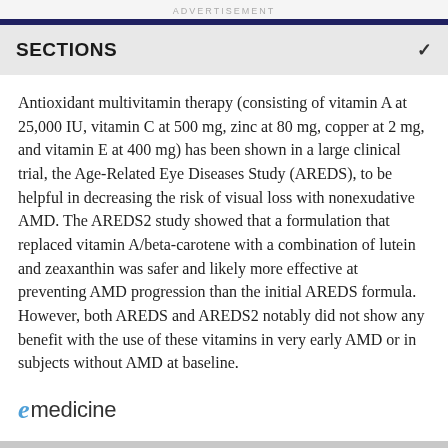ADVERTISEMENT
SECTIONS
Antioxidant multivitamin therapy (consisting of vitamin A at 25,000 IU, vitamin C at 500 mg, zinc at 80 mg, copper at 2 mg, and vitamin E at 400 mg) has been shown in a large clinical trial, the Age-Related Eye Diseases Study (AREDS), to be helpful in decreasing the risk of visual loss with nonexudative AMD. The AREDS2 study showed that a formulation that replaced vitamin A/beta-carotene with a combination of lutein and zeaxanthin was safer and likely more effective at preventing AMD progression than the initial AREDS formula. However, both AREDS and AREDS2 notably did not show any benefit with the use of these vitamins in very early AMD or in subjects without AMD at baseline.
[Figure (logo): eMedicine logo with stylized italic 'e' in blue and 'medicine' in dark gray]